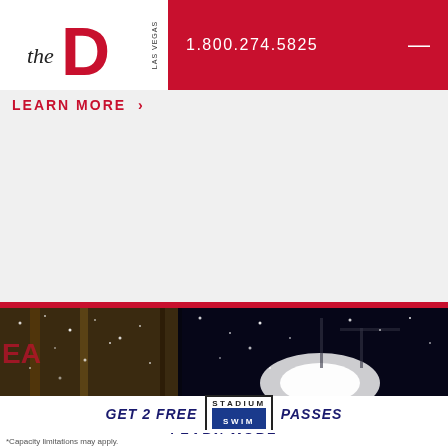[Figure (logo): The D Las Vegas logo with stylized letter D in red and 'the' in black serif, 'LAS VEGAS' vertically on the right side of the D]
1.800.274.5825
LEARN MORE >
[Figure (photo): Nighttime photo showing confetti or snow falling at what appears to be an outdoor stadium or event venue with bright lights]
GET 2 FREE STADIUM SWIM PASSES
LEARN MORE
*Capacity limitations may apply.